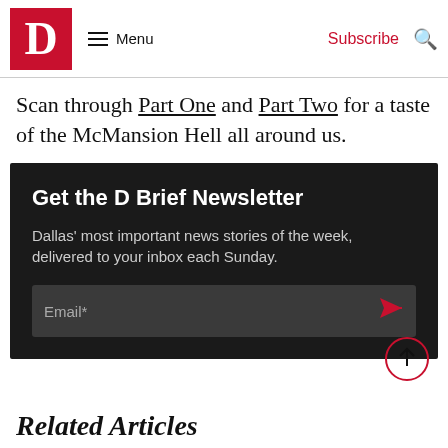D Magazine — Menu | Subscribe | Search
Scan through Part One and Part Two for a taste of the McMansion Hell all around us.
[Figure (infographic): Newsletter signup box: 'Get the D Brief Newsletter' — Dallas' most important news stories of the week, delivered to your inbox each Sunday. Email* input field with send arrow button.]
Related Articles